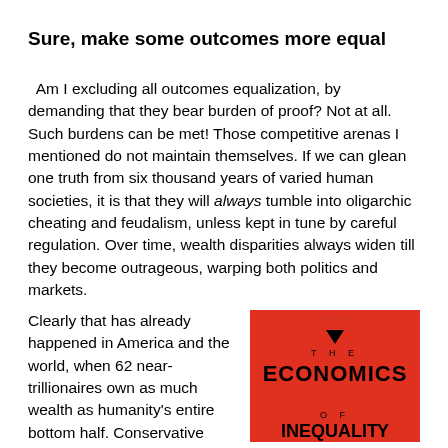Sure, make some outcomes more equal
Am I excluding all outcomes equalization, by demanding that they bear burden of proof? Not at all. Such burdens can be met! Those competitive arenas I mentioned do not maintain themselves. If we can glean one truth from six thousand years of varied human societies, it is that they will always tumble into oligarchic cheating and feudalism, unless kept in tune by careful regulation. Over time, wealth disparities always widen till they become outrageous, warping both politics and markets.
Clearly that has already happened in America and the world, when 62 near-trillionaires own as much wealth as humanity's entire bottom half. Conservative
[Figure (photo): Book cover of 'The Economics of Inequality' on a red background with a downward-pointing triangle]